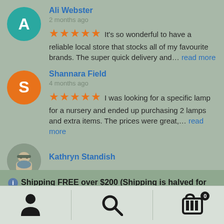Ali Webster
2 months ago
It's so wonderful to have a reliable local store that stocks all of my favourite brands. The super quick delivery and... read more
Shannara Field
4 months ago
I was looking for a specific lamp for a nursery and ended up purchasing 2 lamps and extra items. The prices were great,... read more
Kathryn Standish
Shipping FREE over $200 (Shipping is halved for carts over $100!)
Dismiss